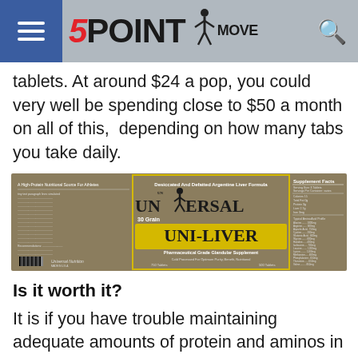5POINT MOVE
tablets. At around $24 a pop, you could very well be spending close to $50 a month on all of this,  depending on how many tabs you take daily.
[Figure (photo): Product label for Universal Uni-Liver 30 Grain tablets - Desiccated And Defatted Argentine Liver Formula, Pharmaceutical Grade Glandular Supplement]
Is it worth it?
It is if you have trouble maintaining adequate amounts of protein and aminos in your diet. It is also worth it if you are someone who is constantly on the move and find it